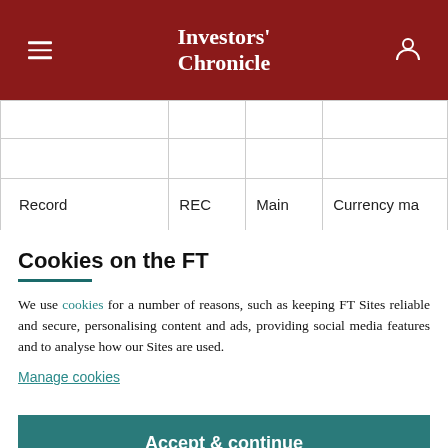Investors' Chronicle
|  |  |  |  |
| Record | REC | Main | Currency ma |
Cookies on the FT
We use cookies for a number of reasons, such as keeping FT Sites reliable and secure, personalising content and ads, providing social media features and to analyse how our Sites are used.
Manage cookies
Accept & continue